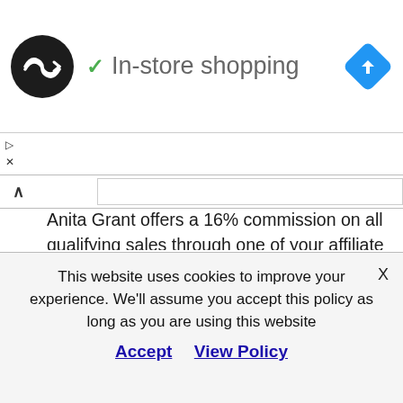[Figure (logo): Black circle logo with two overlapping arrow/double-arrow symbols in white, representing a navigation or affiliate link icon]
✓ In-store shopping
[Figure (illustration): Blue diamond-shaped navigation/direction road sign icon with a white right-turn arrow]
Anita Grant offers a 16% commission on all qualifying sales through one of your affiliate links.  It is a very generous commission and one that you should try and take advantage of whenever it makes sense on your blog.
The good products are just the beginning.  This is a very good partner program to have.  The commission is one of the best in the niche and
This website uses cookies to improve your experience. We'll assume you accept this policy as long as you are using this website
Accept   View Policy